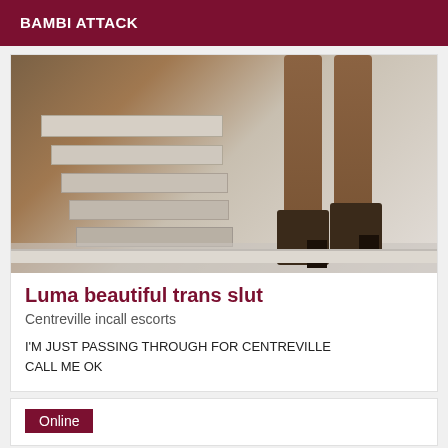BAMBI ATTACK
[Figure (photo): Photo showing the lower legs and high-heeled strappy sandals of a person, standing near white painted stairs or furniture with a reflective floor surface.]
Luma beautiful trans slut
Centreville incall escorts
I'M JUST PASSING THROUGH FOR CENTREVILLE CALL ME OK
Online